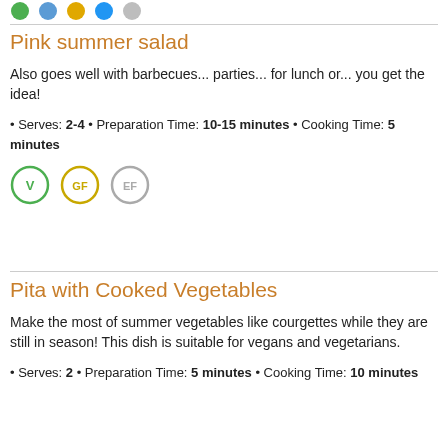[Figure (illustration): Row of colored diet/allergen icon circles (partial, cropped at top)]
Pink summer salad
Also goes well with barbecues... parties... for lunch or... you get the idea!
• Serves: 2-4 • Preparation Time: 10-15 minutes • Cooking Time: 5 minutes
[Figure (illustration): Three badge circles: V (green), GF (gold/yellow), EF (gray)]
Pita with Cooked Vegetables
Make the most of summer vegetables like courgettes while they are still in season! This dish is suitable for vegans and vegetarians.
• Serves: 2 • Preparation Time: 5 minutes • Cooking Time: 10 minutes